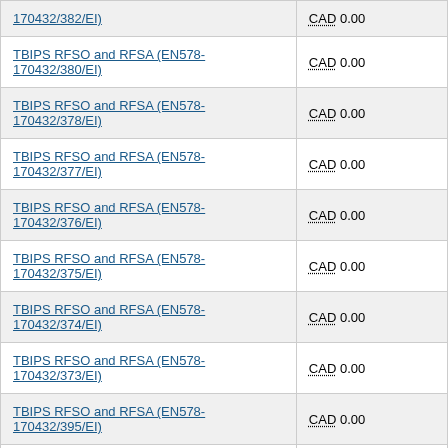| Contract | Value |
| --- | --- |
| 170432/382/EI) | CAD 0.00 |
| TBIPS RFSO and RFSA (EN578-170432/380/EI) | CAD 0.00 |
| TBIPS RFSO and RFSA (EN578-170432/378/EI) | CAD 0.00 |
| TBIPS RFSO and RFSA (EN578-170432/377/EI) | CAD 0.00 |
| TBIPS RFSO and RFSA (EN578-170432/376/EI) | CAD 0.00 |
| TBIPS RFSO and RFSA (EN578-170432/375/EI) | CAD 0.00 |
| TBIPS RFSO and RFSA (EN578-170432/374/EI) | CAD 0.00 |
| TBIPS RFSO and RFSA (EN578-170432/373/EI) | CAD 0.00 |
| TBIPS RFSO and RFSA (EN578-170432/395/EI) | CAD 0.00 |
| TBIPS RFSO and RFSA (EN578-170432/387/EI) | CAD 0.00 |